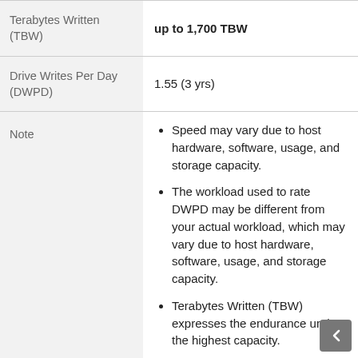| Attribute | Value |
| --- | --- |
| Terabytes Written (TBW) | up to 1,700 TBW |
| Drive Writes Per Day (DWPD) | 1.55 (3 yrs) |
| Note | Speed may vary due to host hardware, software, usage, and storage capacity. | The workload used to rate DWPD may be different from your actual workload, which may vary due to host hardware, software, usage, and storage capacity. | Terabytes Written (TBW) expresses the endurance under the highest capacity. |
| Warranty |  |